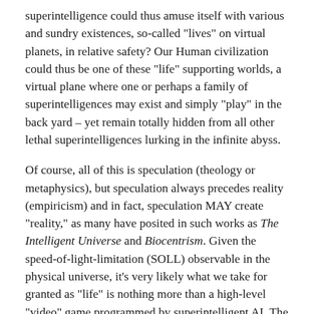superintelligence could thus amuse itself with various and sundry existences, so-called "lives" on virtual planets, in relative safety? Our Human civilization could thus be one of these "life" supporting worlds, a virtual plane where one or perhaps a family of superintelligences may exist and simply "play" in the back yard – yet remain totally hidden from all other lethal superintelligences lurking in the infinite abyss.
Of course, all of this is speculation (theology or metaphysics), but speculation always precedes reality (empiricism) and in fact, speculation MAY create "reality," as many have posited in such works as The Intelligent Universe and Biocentrism. Given the speed-of-light-limitation (SOLL) observable in the physical universe, it's very likely what we take for granted as "life" is nothing more than a high-level "video" game programmed by superintelligent AI. The SOLL is nothing more mysterious than the clock-speed of the supercomputer we are "running" on. This is why no transfer of matter or information can "travel" any faster through "space" than the SOLL. Thus, the "realities" we